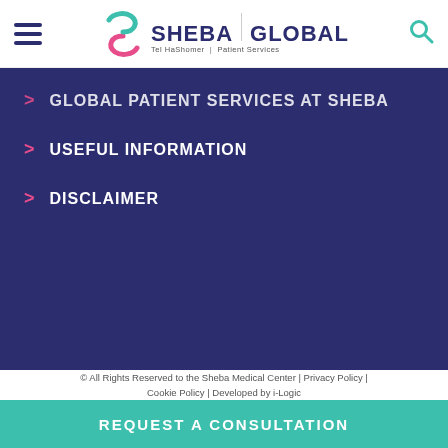Sheba Global | Tel HaShomer | Patient Services
GLOBAL PATIENT SERVICES AT SHEBA
USEFUL INFORMATION
DISCLAIMER
© All Rights Reserved to the Sheba Medical Center | Privacy Policy | Cookie Policy | Developed by i-Logic Protected By Copyscape
REQUEST A CONSULTATION